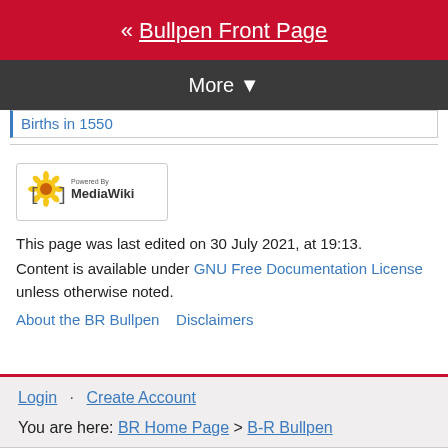« Bullpen Front Page
More ▼
Births in 1550
[Figure (logo): Powered by MediaWiki logo badge]
This page was last edited on 30 July 2021, at 19:13.
Content is available under GNU Free Documentation License unless otherwise noted.
About the BR Bullpen    Disclaimers
Login · Create Account
You are here: BR Home Page > B-R Bullpen